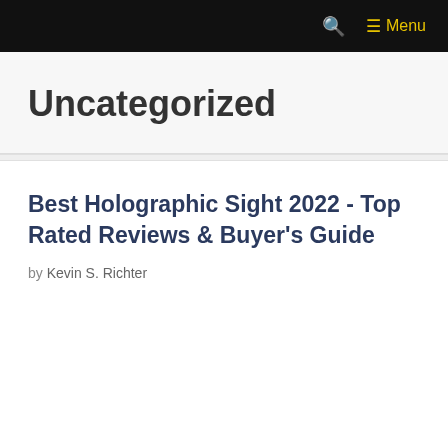🔍  ☰ Menu
Uncategorized
Best Holographic Sight 2022 - Top Rated Reviews & Buyer's Guide
by Kevin S. Richter